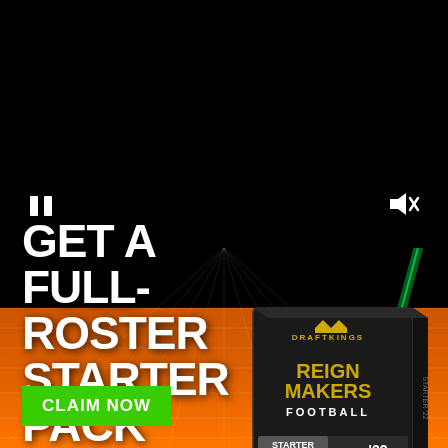[Figure (illustration): DraftKings Reign Makers Football Starter Pack Vol.1 '22 product box on orange background with green laser light and grid overlay. Pause and mute icons visible as video controls.]
GET A FULL-ROSTER STARTER PACK FREE.
CLAIM NOW